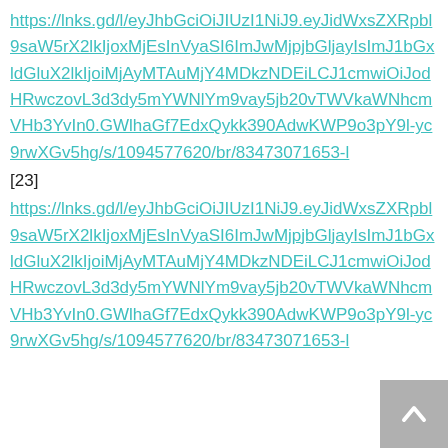https://lnks.gd/l/eyJhbGciOiJIUzI1NiJ9.eyJidWxsZXRpbl9saW5rX2lkIjoxMjEsInVyaSI6ImJwMjpjbGljayIsImJ1bGxldGluX2lkIjoiMjAyMTAuMjY4MDkzNDEiLCJ1cmwiOiJodHRwczovL3d3dy5mYWNlYm9vay5jb20vTWVkaWNhcmVHb3YvIn0.GWlhaGf7EdxQykk390AdwKWP9o3pY9l-yc9rwXGv5hg/s/1094577620/br/83473071653-l
[23]
https://lnks.gd/l/eyJhbGciOiJIUzI1NiJ9.eyJidWxsZXRpbl9saW5rX2lkIjoxMjEsInVyaSI6ImJwMjpjbGljayIsImJ1bGxldGluX2lkIjoiMjAyMTAuMjY4MDkzNDEiLCJ1cmwiOiJodHRwczovL3d3dy5mYWNlYm9vay5jb20vTWVkaWNhcmVHb3YvIn0.GWlhaGf7EdxQykk390AdwKWP9o3pY9l-yc9rwXGv5hg/s/1094577620/br/83473071653-l